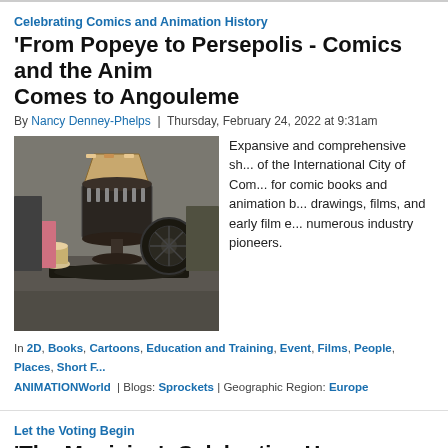Celebrating Comics and Animation History
'From Popeye to Persepolis - Comics and the Anim... Comes to Angouleme
By Nancy Denney-Phelps | Thursday, February 24, 2022 at 9:31am
[Figure (photo): Display case with animation and film artifacts including a zoetrope and film reel]
Expansive and comprehensive sh... of the International City of Com... for comic books and animation b... drawings, films, and early film e... numerous industry pioneers.
In 2D, Books, Cartoons, Education and Training, Event, Films, People, Places, Short ... ANIMATIONWorld | Blogs: Sprockets | Geographic Region: Europe
Let the Voting Begin
'The Musician': Celebrating Human Resilience with...
By Dan Sarto and Jon Hofferman | Monday, January 24, 2022 at 11:49am
[Figure (photo): Expatriate Iranian director Reza...]